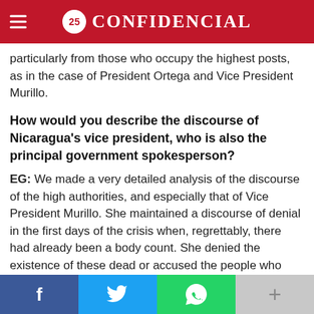25 CONFIDENCIAL
particularly from those who occupy the highest posts, as in the case of President Ortega and Vice President Murillo.
How would you describe the discourse of Nicaragua's vice president, who is also the principal government spokesperson?
EG: We made a very detailed analysis of the discourse of the high authorities, and especially that of Vice President Murillo. She maintained a discourse of denial in the first days of the crisis when, regrettably, there had already been a body count. She denied the existence of these dead or accused the people who had valiantly demonstrated on the streets, using terms like minuscule and vampires. Clearly, these